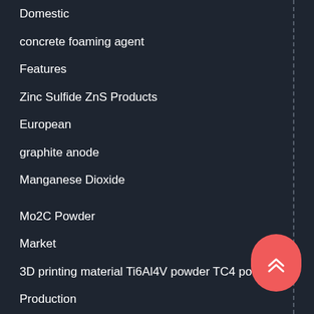Domestic
concrete foaming agent
Features
Zinc Sulfide ZnS Products
European
graphite anode
Manganese Dioxide
Mo2C Powder
Market
3D printing material Ti6Al4V powder TC4 powder
Production
Ti6Al4V Powder
concrete defoamer